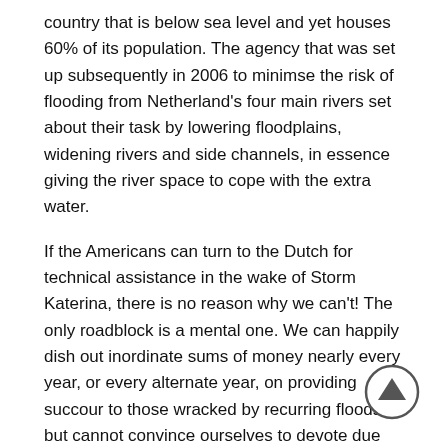country that is below sea level and yet houses 60% of its population. The agency that was set up subsequently in 2006 to minimse the risk of flooding from Netherland's four main rivers set about their task by lowering floodplains, widening rivers and side channels, in essence giving the river space to cope with the extra water.
If the Americans can turn to the Dutch for technical assistance in the wake of Storm Katerina, there is no reason why we can't! The only roadblock is a mental one. We can happily dish out inordinate sums of money nearly every year, or every alternate year, on providing succour to those wracked by recurring floods, but cannot convince ourselves to devote due attention to preventive measures to stop it from occurring in the first place.
Similarly, our mindset is such that we'd rather overuse water on land rather than let even a drop trickle down into the sea, which we deem to be a colossal waste. Endowed with such a linear line of thinking, its no wonder that the lustrous ecology of the Indus Delta is close